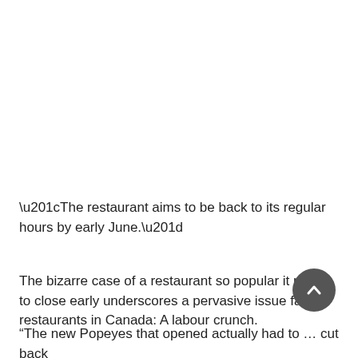“The restaurant aims to be back to its regular hours by early June.”
The bizarre case of a restaurant so popular it needs to close early underscores a pervasive issue facing restaurants in Canada: A labour crunch.
“The new Popeyes that opened actually had to … cut back